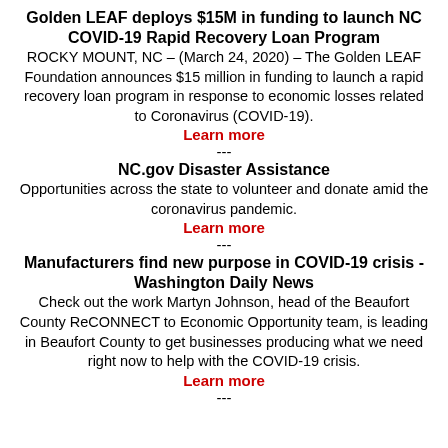Golden LEAF deploys $15M in funding to launch NC COVID-19 Rapid Recovery Loan Program
ROCKY MOUNT, NC – (March 24, 2020) – The Golden LEAF Foundation announces $15 million in funding to launch a rapid recovery loan program in response to economic losses related to Coronavirus (COVID-19).
Learn more
---
NC.gov Disaster Assistance
Opportunities across the state to volunteer and donate amid the coronavirus pandemic.
Learn more
---
Manufacturers find new purpose in COVID-19 crisis - Washington Daily News
Check out the work Martyn Johnson, head of the Beaufort County ReCONNECT to Economic Opportunity team, is leading in Beaufort County to get businesses producing what we need right now to help with the COVID-19 crisis.
Learn more
---